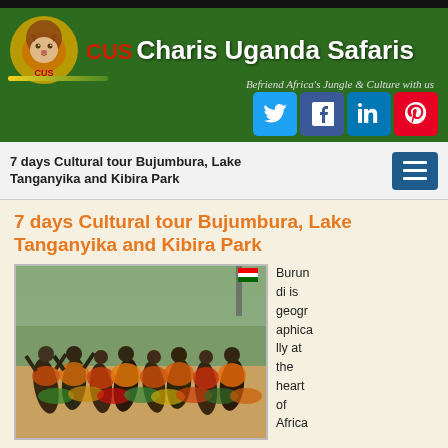[Figure (logo): Charis Uganda Safaris logo banner with lion icon, CUS text, brand name and social media icons (Twitter, Facebook, LinkedIn, Pinterest) on dark green background]
7 days Cultural tour Bujumbura, Lake Tanganyika and Kibira Park
7 days Cultural tour Bujumbura, Lake Tanganyika and Kibira Park
[Figure (photo): Traditional African cultural dancers in colorful costumes performing outdoors at a stadium or sports ground]
Burundi is geographically at the heart of Africa